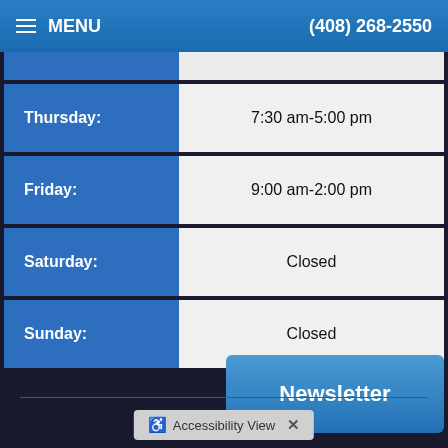MENU  (408) 268-2550
| Day | Hours |
| --- | --- |
| Thursday: | 7:30 am-5:00 pm |
| Friday: | 9:00 am-2:00 pm |
| Saturday: | Closed |
| Sunday: | Closed |
Newsletter
Accessibility View